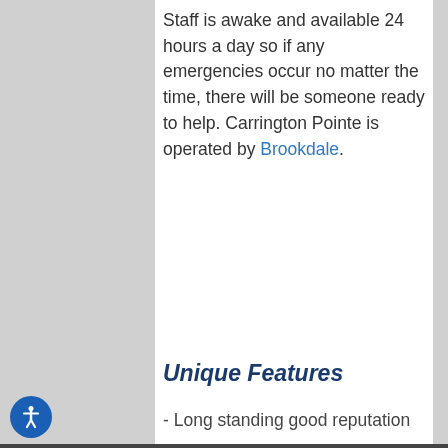Staff is awake and available 24 hours a day so if any emergencies occur no matter the time, there will be someone ready to help. Carrington Pointe is operated by Brookdale.
Unique Features
- Long standing good reputation
- Has consultant to assist with VA benefits
- Physical therapy will come to property
Nearby Communities
If Carrington Pointe isn't quite what you're looking for, take a look at a few other nearby communities that might be a better match.